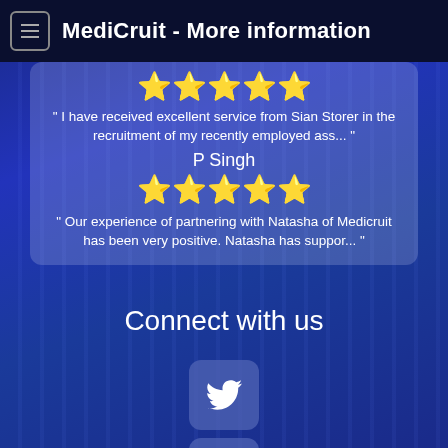MediCruit - More information
" I have received excellent service from Sian Storer in the recruitment of my recently employed ass... "
P Singh
" Our experience of partnering with Natasha of Medicruit has been very positive. Natasha has suppor... "
Connect with us
[Figure (other): Twitter social media icon button (white bird on blue-gray rounded square)]
[Figure (other): Facebook social media icon button (white f on blue-gray rounded square)]
[Figure (other): LinkedIn social media icon button (white 'in' on blue-gray rounded square)]